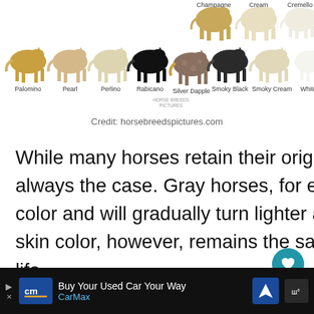[Figure (illustration): Row of horse illustrations in various coat colors including Palomino, Pearl, Perlino, Rabicano, Silver Dapple, Smoky Black, Smoky Cream, White, and partial top row showing Champagne, Cream, Cremello. Credit: horsebreedspictures.com]
Credit: horsebreedspictures.com
While many horses retain their original color at birth, this is not always the case. Gray horses, for example, can be born any color and will gradually turn lighter as they age. The horse's skin color, however, remains the same throughout the animal's life.
Common Horse Coat Colors